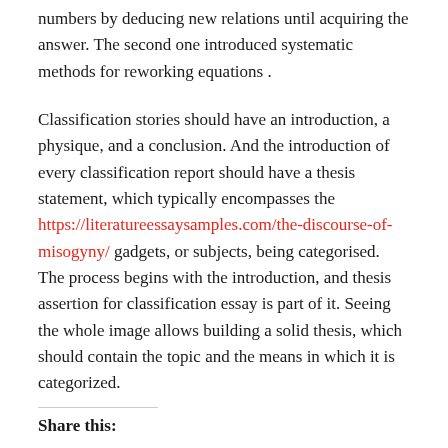numbers by deducing new relations until acquiring the answer. The second one introduced systematic methods for reworking equations .
Classification stories should have an introduction, a physique, and a conclusion. And the introduction of every classification report should have a thesis statement, which typically encompasses the https://literatureessaysamples.com/the-discourse-of-misogyny/ gadgets, or subjects, being categorised. The process begins with the introduction, and thesis assertion for classification essay is part of it. Seeing the whole image allows building a solid thesis, which should contain the topic and the means in which it is categorized.
Share this: